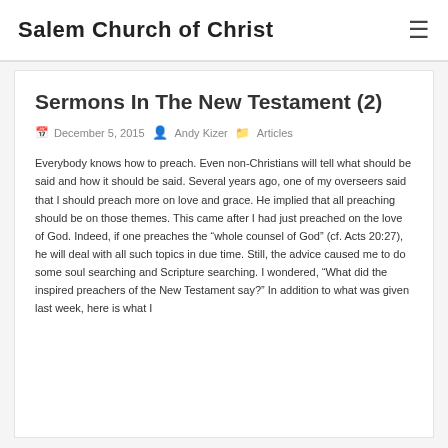Salem Church of Christ
Sermons In The New Testament (2)
December 5, 2015  Andy Kizer  Articles
Everybody knows how to preach. Even non-Christians will tell what should be said and how it should be said. Several years ago, one of my overseers said that I should preach more on love and grace. He implied that all preaching should be on those themes. This came after I had just preached on the love of God. Indeed, if one preaches the “whole counsel of God” (cf. Acts 20:27), he will deal with all such topics in due time. Still, the advice caused me to do some soul searching and Scripture searching. I wondered, “What did the inspired preachers of the New Testament say?” In addition to what was given last week, here is what I